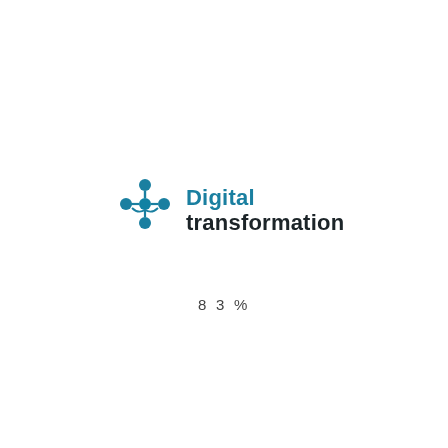[Figure (logo): Digital transformation logo with a teal/blue network dots icon on the left and two-line text: 'Digital' in teal bold and 'transformation' in dark bold]
83%